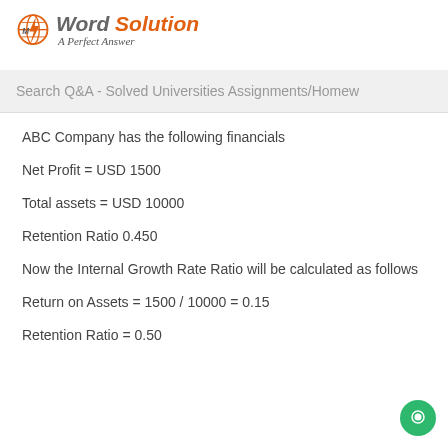My Word Solution – A Perfect Answer
Search Q&A - Solved Universities Assignments/Homew
ABC Company has the following financials
Net Profit = USD 1500
Total assets = USD 10000
Retention Ratio 0.450
Now the Internal Growth Rate Ratio will be calculated as follows
Return on Assets = 1500 / 10000 = 0.15
Retention Ratio = 0.50